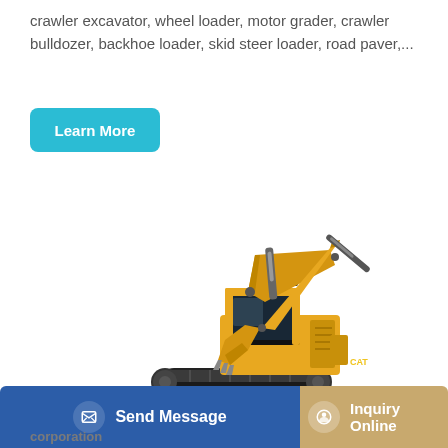crawler excavator, wheel loader, motor grader, crawler bulldozer, backhoe loader, skid steer loader, road paver,...
Learn More
[Figure (photo): Yellow CAT crawler excavator on white background, side view showing boom, arm, bucket and undercarriage tracks]
Send Message
Inquiry Online
corporation